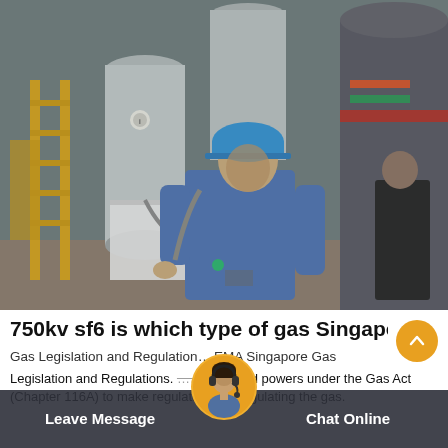[Figure (photo): Industrial facility photo showing a worker in a blue hard hat and blue coveralls working near large cylindrical SF6 gas equipment/machinery. Another person visible in background near industrial equipment.]
750kv sf6 is which type of gas Singapore
Gas Legislation and Regulation… EMA Singapore Gas Legislation and Regulations. …conferred powers under the Gas Act (Chapter 116A) to make regulations for regulating the gas.
Leave Message
Chat Online